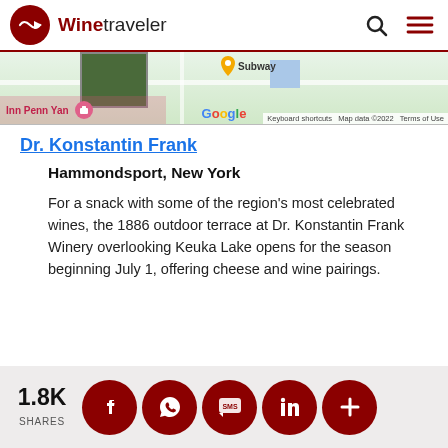Winetraveler
[Figure (map): Google Maps screenshot showing area near Inn Penn Yan with Subway location and Google branding. Text visible: 'Subway', 'Google', 'Inn Penn Yan', 'Keyboard shortcuts', 'Map data ©2022', 'Terms of Use']
Dr. Konstantin Frank
Hammondsport, New York
For a snack with some of the region's most celebrated wines, the 1886 outdoor terrace at Dr. Konstantin Frank Winery overlooking Keuka Lake opens for the season beginning July 1, offering cheese and wine pairings.
1.8K SHARES